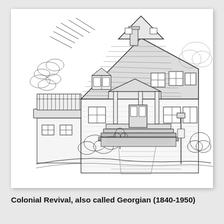[Figure (illustration): Pen-and-ink architectural sketch of a Colonial Revival (Georgian) style house, two and a half stories, with gambrel/gabled roof, dormer windows, front porch with columns, brick facade, balcony on left side, surrounded by trees and shrubs.]
Colonial Revival, also called Georgian (1840-1950)